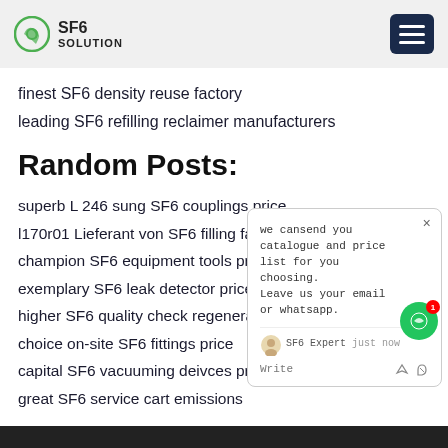SF6 SOLUTION
finest SF6 density reuse factory
leading SF6 refilling reclaimer manufacturers
Random Posts:
superb L 246 sung SF6 couplings price
l170r01 Lieferant von SF6 filling factory
champion SF6 equipment tools pricing
exemplary SF6 leak detector price
higher SF6 quality check regeneration factory
choice on-site SF6 fittings price
capital SF6 vacuuming deivces pricing
great SF6 service cart emissions
[Figure (screenshot): Chat popup overlay with message: we can send you catalogue and price list for you choosing. Leave us your email or whatsapp. SF6 Expert just now. Write area with like and attachment icons.]